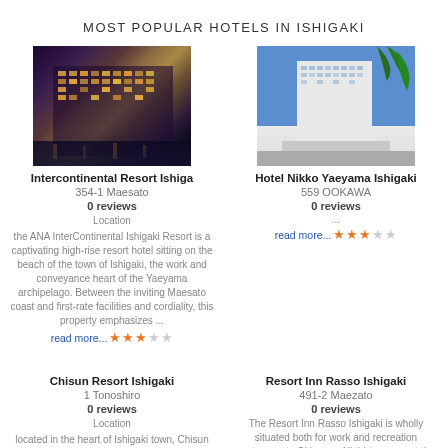MOST POPULAR HOTELS IN ISHIGAKI
[Figure (photo): Night photo of Intercontinental Resort Ishiga - illuminated high-rise resort hotel]
Intercontinental Resort Ishiga
354-1 Maesato
0 reviews
Location
the ANA InterContinental Ishigaki Resort is a captivating high-rise resort hotel sitting on the beach of the town of Ishigaki, the work and conveyance heart of the Yaeyama archipelago. Between the inviting Maesato coast and first-rate facilities and cordiality, this property emphasizes ...
read more... ★★★☆☆
[Figure (photo): Daytime photo of Hotel Nikko Yaeyama Ishigaki - white high-rise hotel against blue sky]
Hotel Nikko Yaeyama Ishigaki
559 OOKAWA
0 reviews
...
read more... ★★★☆☆
Chisun Resort Ishigaki
1 Tonoshiro
0 reviews
Location
located in the heart of Ishigaki town, Chisun Resort Ishigaki Okinawa is exactly 10 min drive away from Ishigaki Airport and is close to the Misakicho amusement region where customers able to enjoy
Resort Inn Rasso Ishigaki
491-2 Maezato
0 reviews
The Resort Inn Rasso Ishigaki is wholly situated both for work and recreation customers to Okinawa. All thirty rooms at the guesthouse are well-equipped with important facilities to assure that every guest's satisfaction. In-room amenities